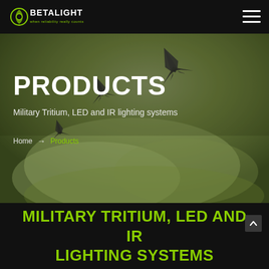[Figure (logo): Betalight logo — white crescent/shield icon with BETALIGHT text and tagline 'when reliability really counts']
[Figure (photo): Two military fighter jets flying over green smoky sky background, hero banner image]
PRODUCTS
Military Tritium, LED and IR lighting systems
Home → Products
MILITARY TRITIUM, LED AND IR LIGHTING SYSTEMS